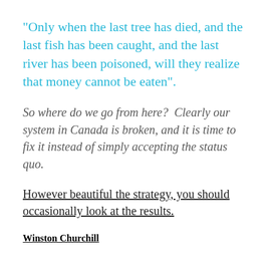“Only when the last tree has died, and the last fish has been caught, and the last river has been poisoned, will they realize that money cannot be eaten”.
So where do we go from here?  Clearly our system in Canada is broken, and it is time to fix it instead of simply accepting the status quo.
However beautiful the strategy, you should occasionally look at the results.
Winston Churchill